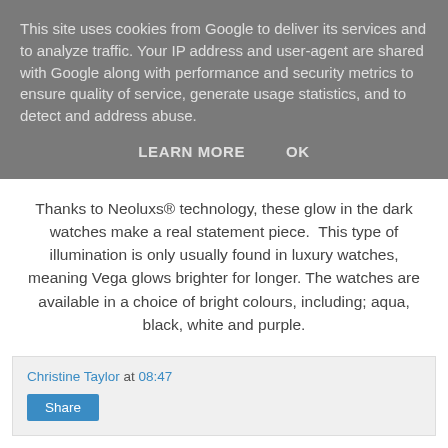This site uses cookies from Google to deliver its services and to analyze traffic. Your IP address and user-agent are shared with Google along with performance and security metrics to ensure quality of service, generate usage statistics, and to detect and address abuse.
LEARN MORE    OK
Thanks to Neoluxs® technology, these glow in the dark watches make a real statement piece.  This type of illumination is only usually found in luxury watches, meaning Vega glows brighter for longer. The watches are available in a choice of bright colours, including; aqua, black, white and purple.
Christine Taylor at 08:47
Share
No comments: